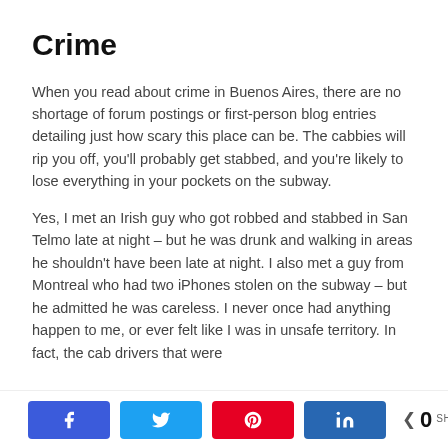Crime
When you read about crime in Buenos Aires, there are no shortage of forum postings or first-person blog entries detailing just how scary this place can be. The cabbies will rip you off, you'll probably get stabbed, and you're likely to lose everything in your pockets on the subway.
Yes, I met an Irish guy who got robbed and stabbed in San Telmo late at night – but he was drunk and walking in areas he shouldn't have been late at night. I also met a guy from Montreal who had two iPhones stolen on the subway – but he admitted he was careless. I never once had anything happen to me, or ever felt like I was in unsafe territory. In fact, the cab drivers that were